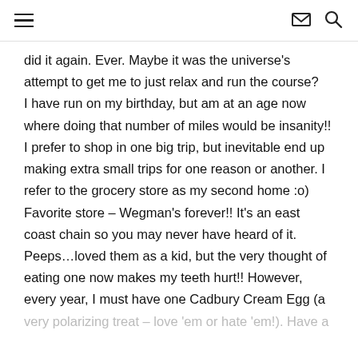[hamburger menu] [mail icon] [search icon]
did it again. Ever. Maybe it was the universe's attempt to get me to just relax and run the course?
I have run on my birthday, but am at an age now where doing that number of miles would be insanity!!
I prefer to shop in one big trip, but inevitable end up making extra small trips for one reason or another. I refer to the grocery store as my second home :o)
Favorite store – Wegman's forever!! It's an east coast chain so you may never have heard of it.
Peeps…loved them as a kid, but the very thought of eating one now makes my teeth hurt!! However, every year, I must have one Cadbury Cream Egg (a
very polarizing treat – love 'em or hate 'em!). Have a